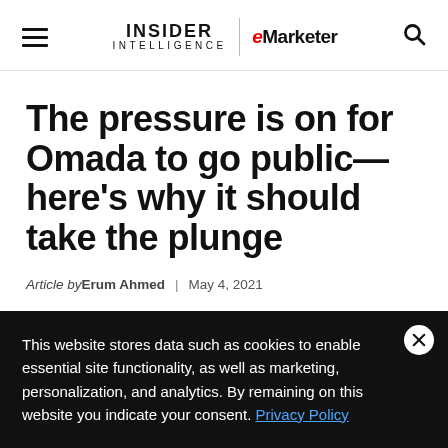INSIDER INTELLIGENCE | eMarketer
The pressure is on for Omada to go public—here's why it should take the plunge
Article by Erum Ahmed | May 4, 2021
This website stores data such as cookies to enable essential site functionality, as well as marketing, personalization, and analytics. By remaining on this website you indicate your consent. Privacy Policy